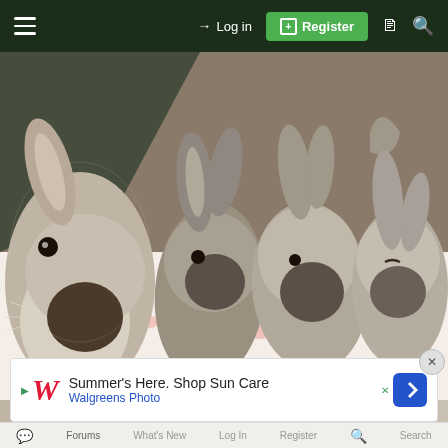≡  → Log in  [+] Register  □  🔍
[Figure (photo): Four baby lop-eared rabbits lying together on a white and pink floral patterned fabric/blanket. The rabbits are grey/brown in color with floppy ears.]
[Figure (photo): Partial view of another photo below the main image showing dark circular shapes on a patterned background.]
Summer's Here. Shop Sun Care — Walgreens Photo
Forums   What's New   Log In   Register   Search